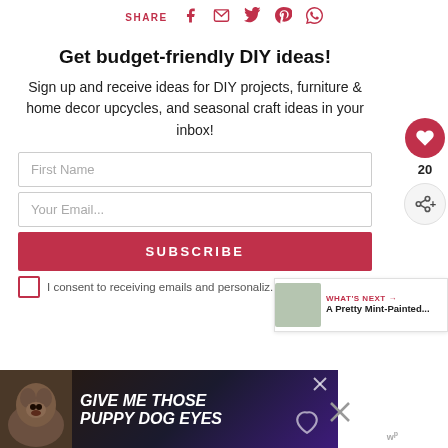SHARE
Get budget-friendly DIY ideas!
Sign up and receive ideas for DIY projects, furniture & home decor upcycles, and seasonal craft ideas in your inbox!
First Name
Your Email...
SUBSCRIBE
I consent to receiving emails and personaliz...
[Figure (other): Advertisement banner: dog with text GIVE ME THOSE PUPPY DOG EYES]
WHAT'S NEXT → A Pretty Mint-Painted...